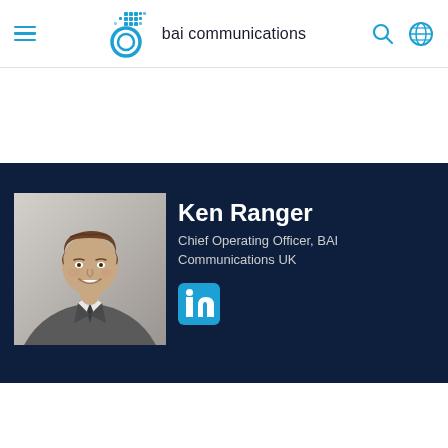bai communications
[Figure (photo): Headshot photo of Ken Ranger, a man in a grey suit with brown hair, smiling, against a light background]
Ken Ranger
Chief Operating Officer, BAI Communications UK
[Figure (logo): LinkedIn icon in blue]